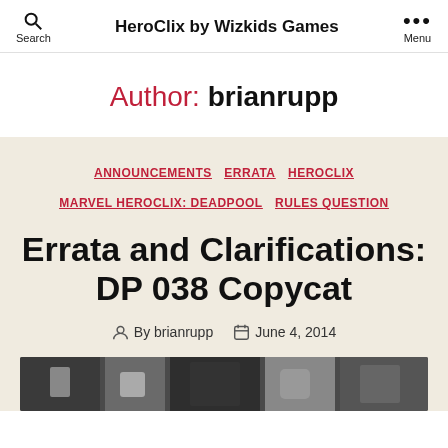HeroClix by Wizkids Games
Author: brianrupp
ANNOUNCEMENTS  ERRATA  HEROCLIX  MARVEL HEROCLIX: DEADPOOL  RULES QUESTION
Errata and Clarifications: DP 038 Copycat
By brianrupp  June 4, 2014
[Figure (photo): Partial thumbnail image at bottom of page showing comic-book style artwork]